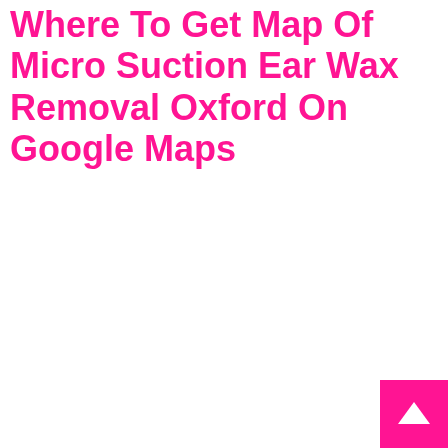Where To Get Map Of Micro Suction Ear Wax Removal Oxford On Google Maps